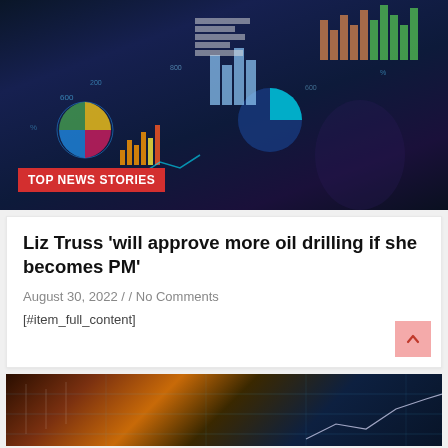[Figure (photo): Dark blue background with a person in a suit holding their hand out, surrounded by glowing digital data charts, bar charts, pie charts and financial graphs floating in the air. A red badge reads TOP NEWS STORIES at the bottom left.]
Liz Truss ‘will approve more oil drilling if she becomes PM’
August 30, 2022 / / No Comments
[#item_full_content]
[Figure (photo): Partial view of a financial stock market chart with orange/amber glowing candlestick patterns and blue digital grid overlay.]